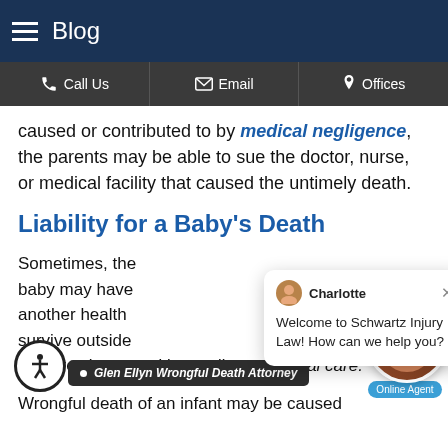Blog
Call Us  Email  Offices
caused or contributed to by medical negligence, the parents may be able to sue the doctor, nurse, or medical facility that caused the untimely death.
Liability for a Baby’s Death
Sometimes, the [partially obscured] baby may have [partially obscured] another health [partially obscured] survive outside [partially obscured] are directly caused by negligent medical care.
Wrongful death of an infant may be caused [continues]
Glen Ellyn Wrongful Death Attorney